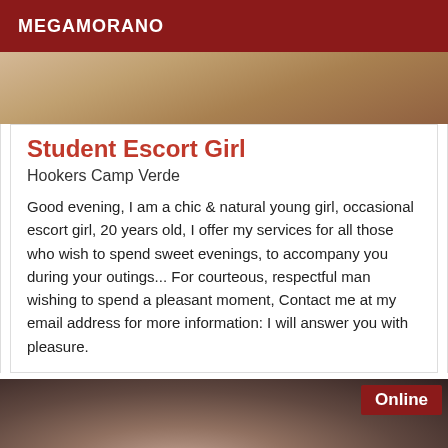MEGAMORANO
[Figure (photo): Partial photo of a person, skin tones visible, cropped top image]
Student Escort Girl
Hookers Camp Verde
Good evening, I am a chic & natural young girl, occasional escort girl, 20 years old, I offer my services for all those who wish to spend sweet evenings, to accompany you during your outings... For courteous, respectful man wishing to spend a pleasant moment, Contact me at my email address for more information: I will answer you with pleasure.
[Figure (photo): Close-up portrait photo of a young woman with dark hair, with an 'Online' badge in the top-right corner]